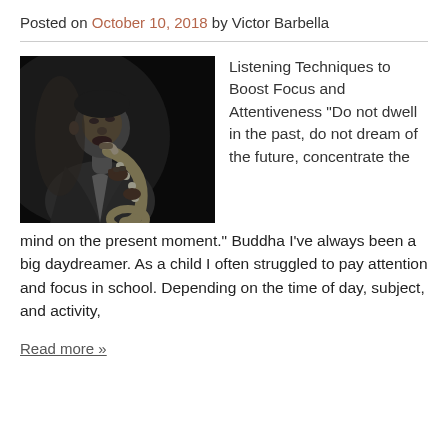Posted on October 10, 2018 by Victor Barbella
[Figure (photo): Black and white photo of a man playing saxophone, wearing a suit, dramatic low lighting.]
Listening Techniques to Boost Focus and Attentiveness “Do not dwell in the past, do not dream of the future, concentrate the mind on the present moment.” Buddha I’ve always been a big daydreamer. As a child I often struggled to pay attention and focus in school. Depending on the time of day, subject, and activity,
Read more »